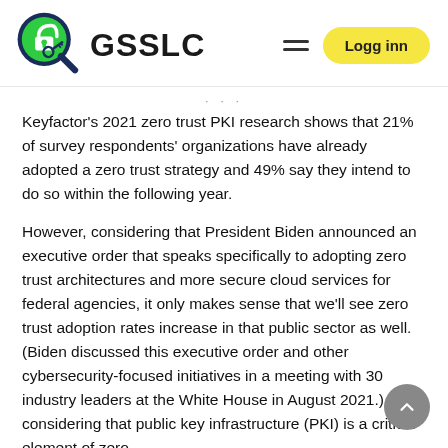[Figure (logo): GSSLC logo with a padlock and magnifying glass icon in green and dark blue, followed by the text GSSLC in bold black, with a hamburger menu icon and a yellow 'Logg inn' button on the right.]
Keyfactor's 2021 zero trust PKI research shows that 21% of survey respondents' organizations have already adopted a zero trust strategy and 49% say they intend to do so within the following year.
However, considering that President Biden announced an executive order that speaks specifically to adopting zero trust architectures and more secure cloud services for federal agencies, it only makes sense that we'll see zero trust adoption rates increase in that public sector as well. (Biden discussed this executive order and other cybersecurity-focused initiatives in a meeting with 30 industry leaders at the White House in August 2021.) And considering that public key infrastructure (PKI) is a critical element of zero